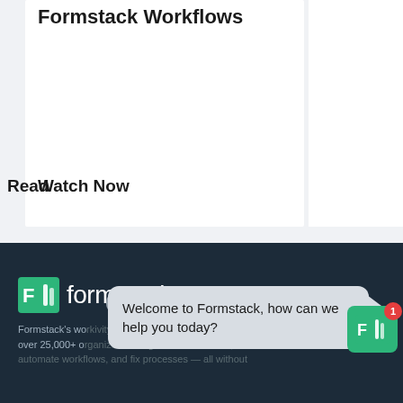Formstack Workflows
Watch Now
Read
[Figure (logo): Formstack logo with green icon and white wordmark on dark background]
Formstack's wo...ivity platform helps over 25,000+ organizations digitize what matters, automate workflows, and fix processes — all without
Welcome to Formstack, how can we help you today?